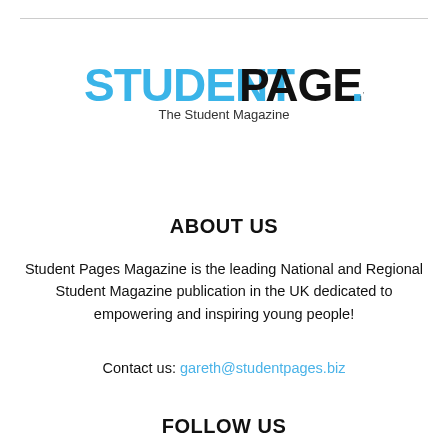[Figure (logo): Student Pages logo with blue 'STUDENT' text and black 'PAGES' text with tagline 'The Student Magazine']
ABOUT US
Student Pages Magazine is the leading National and Regional Student Magazine publication in the UK dedicated to empowering and inspiring young people!
Contact us: gareth@studentpages.biz
FOLLOW US